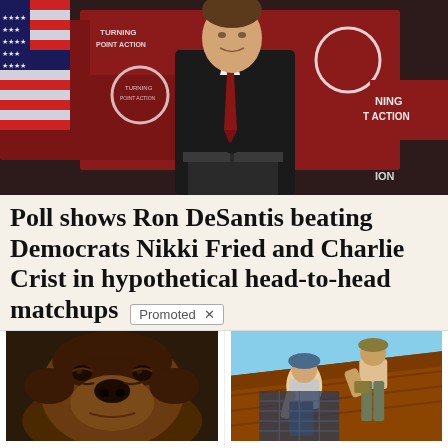[Figure (photo): Man in black suit and red tie speaking at podium, Turning Point Action backdrop with red and white logos, American flag visible on left]
Poll shows Ron DeSantis beating Democrats Nikki Fried and Charlie Crist in hypothetical head-to-head matchups
[Figure (photo): Close-up of a brown/chocolate pitbull dog lying down, dark background]
3 Ways Your Dog Asks For Help
🔥 184
[Figure (photo): Two workers installing solar panels on a rooftop on a sunny day]
Forget Expensive Roofing (Do This Instead) - See Options
🔥 545